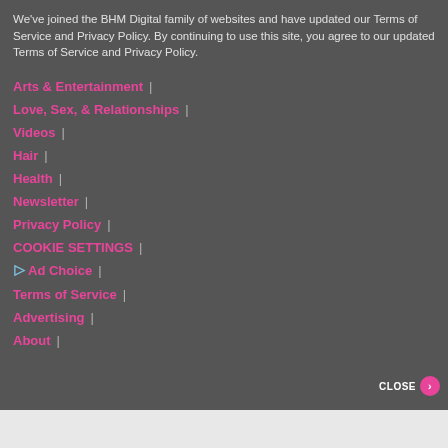We've joined the BHM Digital family of websites and have updated our Terms of Service and Privacy Policy. By continuing to use this site, you agree to our updated Terms of Service and Privacy Policy.
Arts & Entertainment |
Love, Sex, & Relationships |
Videos |
Hair |
Health |
Newsletter |
Privacy Policy |
COOKIE SETTINGS |
▷ Ad Choice |
Terms of Service |
Advertising |
About |